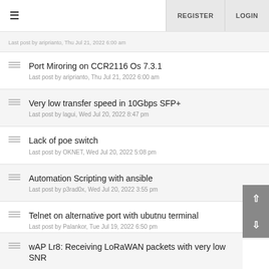≡  REGISTER  LOGIN
Port Miroring on CCR2116 Os 7.3.1
Last post by ariprianto, Thu Jul 21, 2022 6:00 am
Very low transfer speed in 10Gbps SFP+
Last post by lagui, Wed Jul 20, 2022 8:47 pm
Lack of poe switch
Last post by OKNET, Wed Jul 20, 2022 5:08 pm
Automation Scripting with ansible
Last post by p3rad0x, Wed Jul 20, 2022 3:55 pm
Telnet on alternative port with ubutnu terminal
Last post by Palankor, Tue Jul 19, 2022 6:50 pm
wAP Lr8: Receiving LoRaWAN packets with very low SNR
Last post by ...